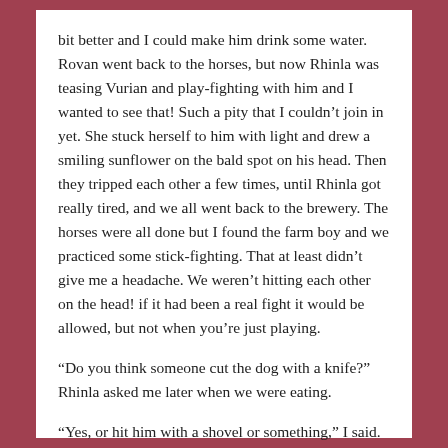bit better and I could make him drink some water. Rovan went back to the horses, but now Rhinla was teasing Vurian and play-fighting with him and I wanted to see that! Such a pity that I couldn't join in yet. She stuck herself to him with light and drew a smiling sunflower on the bald spot on his head. Then they tripped each other a few times, until Rhinla got really tired, and we all went back to the brewery. The horses were all done but I found the farm boy and we practiced some stick-fighting. That at least didn't give me a headache. We weren't hitting each other on the head! if it had been a real fight it would be allowed, but not when you're just playing.
“Do you think someone cut the dog with a knife?” Rhinla asked me later when we were eating.
“Yes, or hit him with a shovel or something,” I said. “Oh! I know! Perhaps it was someone who wanted to steal the goats.”